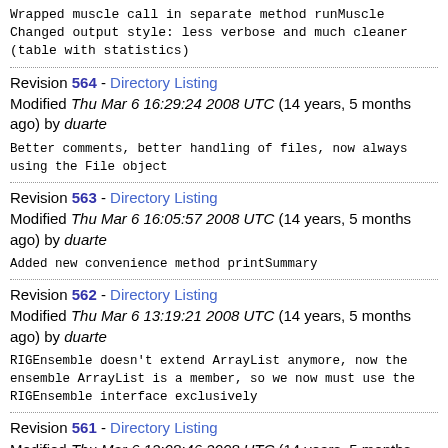Wrapped muscle call in separate method runMuscle
Changed output style: less verbose and much cleaner
(table with statistics)
Revision 564 - Directory Listing
Modified Thu Mar 6 16:29:24 2008 UTC (14 years, 5 months ago) by duarte
Better comments, better handling of files, now always using the File object
Revision 563 - Directory Listing
Modified Thu Mar 6 16:05:57 2008 UTC (14 years, 5 months ago) by duarte
Added new convenience method printSummary
Revision 562 - Directory Listing
Modified Thu Mar 6 13:19:21 2008 UTC (14 years, 5 months ago) by duarte
RIGEnsemble doesn't extend ArrayList anymore, now the ensemble ArrayList is a member, so we now must use the RIGEnsemble interface exclusively
Revision 561 - Directory Listing
Modified Thu Mar 6 12:08:46 2008 UTC (14 years, 5 months ago) by duarte